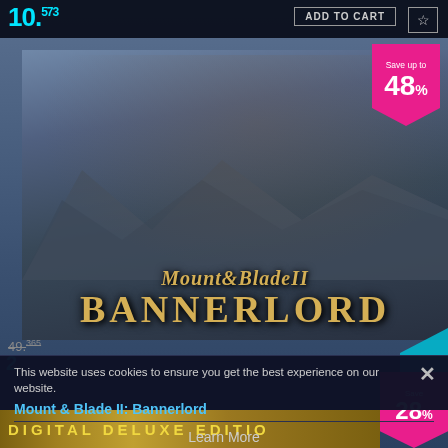10.573
ADD TO CART
Save up to 48%
[Figure (illustration): Mount & Blade II: Bannerlord game key art showing an armored warrior on horseback with a weapon raised, fantasy mountain background, with gold ornate game title text 'Mount & Blade II BANNERLORD']
This website uses cookies to ensure you get the best experience on our website.
Mount & Blade II: Bannerlord
Learn More
Decline
Allow All
49.365
DIGITAL DELUXE EDITIO...
Save 28%